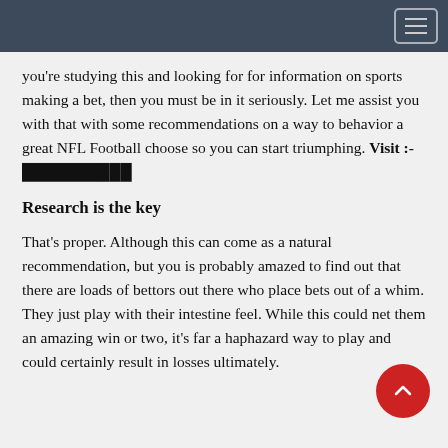Navigation bar with hamburger menu
you're studying this and looking for for information on sports making a bet, then you must be in it seriously. Let me assist you with that with some recommendations on a way to behavior a great NFL Football choose so you can start triumphing. Visit :-  ██████████
Research is the key
That's proper. Although this can come as a natural recommendation, but you is probably amazed to find out that there are loads of bettors out there who place bets out of a whim. They just play with their intestine feel. While this could net them an amazing win or two, it's far a haphazard way to play and could certainly result in losses ultimately.